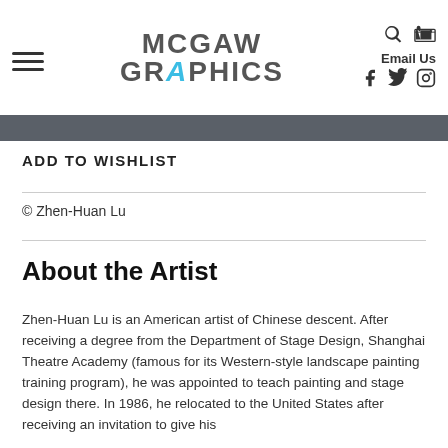MCGAW GRAPHICS
ADD TO WISHLIST
© Zhen-Huan Lu
About the Artist
Zhen-Huan Lu is an American artist of Chinese descent. After receiving a degree from the Department of Stage Design, Shanghai Theatre Academy (famous for its Western-style landscape painting training program), he was appointed to teach painting and stage design there. In 1986, he relocated to the United States after receiving an invitation to give his